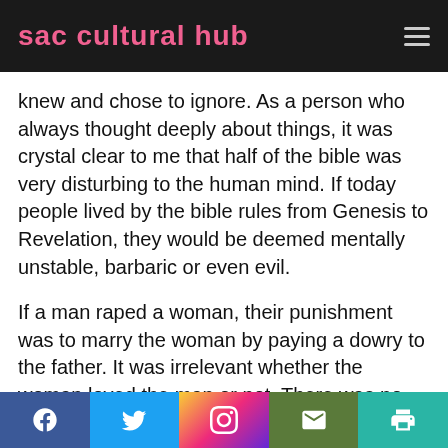sac cultural hub
knew and chose to ignore. As a person who always thought deeply about things, it was crystal clear to me that half of the bible was very disturbing to the human mind. If today people lived by the bible rules from Genesis to Revelation, they would be deemed mentally unstable, barbaric or even evil.
If a man raped a woman, their punishment was to marry the woman by paying a dowry to the father. It was irrelevant whether the woman loved the man or not. There was no such thing as